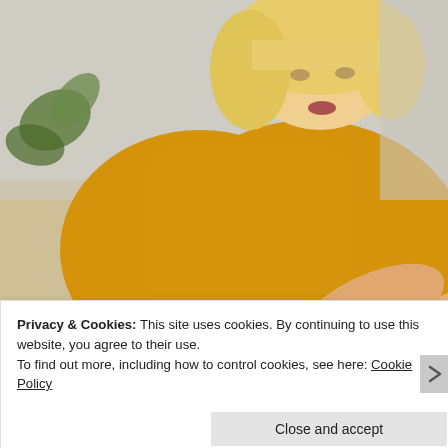[Figure (photo): A young blonde woman wearing a mustard yellow knit sweater, sitting on a couch, looking down at her wrist/arm with dark nail polish. Background shows a living room with a pillow and plant.]
Privacy & Cookies: This site uses cookies. By continuing to use this website, you agree to their use.
To find out more, including how to control cookies, see here: Cookie Policy
Close and accept
Follow ...